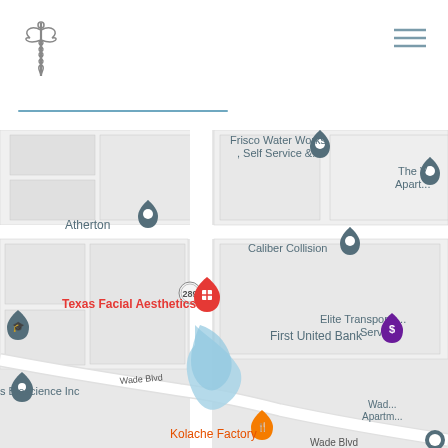[Figure (logo): Medical caduceus symbol logo in gray]
[Figure (other): Hamburger menu icon (three horizontal lines) in gray]
[Figure (other): Blue horizontal decorative line divider]
[Figure (map): Google Maps screenshot showing Texas Facial Aesthetics location in Frisco, TX near Wade Blvd and Preston Rd (289), with nearby landmarks: Atherton, Frisco Water Works Self Service, Caliber Collision, The V Apartments, Elite Transportation Services, First United Bank, Bioscience Inc, Kolache Factory, Wade Apartments]